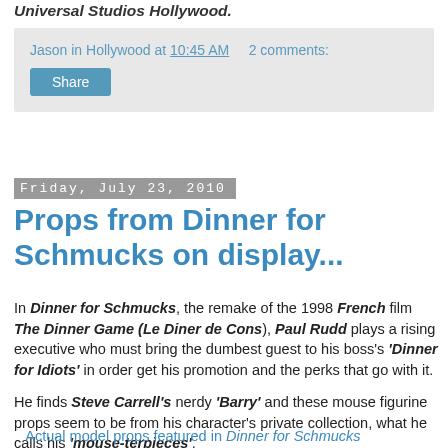Universal Studios Hollywood.
Jason in Hollywood at 10:45 AM    2 comments:
Share
Friday, July 23, 2010
Props from Dinner for Schmucks on display...
In Dinner for Schmucks, the remake of the 1998 French film The Dinner Game (Le Diner de Cons), Paul Rudd plays a rising executive who must bring the dumbest guest to his boss's 'Dinner for Idiots' in order get his promotion and the perks that go with it.
He finds Steve Carrell's nerdy 'Barry' and these mouse figurine props seem to be from his character's private collection, what he calls his 'mouse-terpieces'.
Actual model props featured in Dinner for Schmucks